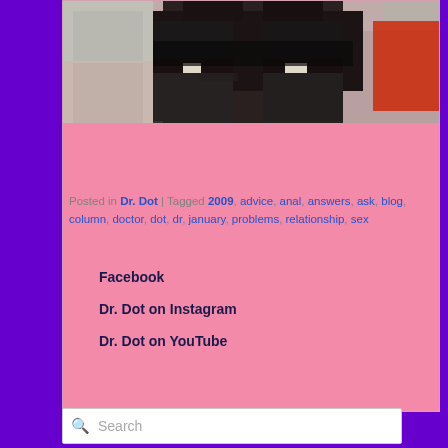[Figure (photo): Lower body photo showing person wearing black mini skirt, fishnet stockings with lace top garter belt, with a red guitar visible in the background]
Posted in Dr. Dot | Tagged 2009, advice, anal, answers, ask, blog, column, doctor, dot, dr, january, problems, relationship, sex
Facebook
Dr. Dot on Instagram
Dr. Dot on YouTube